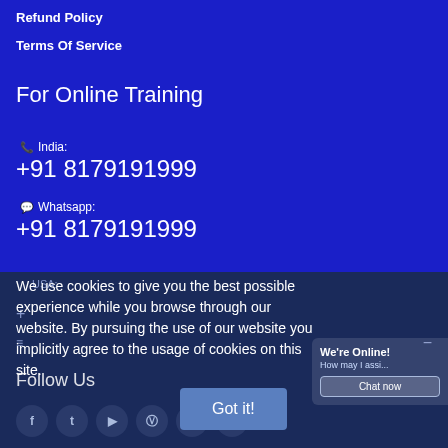Refund Policy
Terms Of Service
For Online Training
📞 India:
+91 8179191999
💬 Whatsapp:
+91 8179191999
USA:
We use cookies to give you the best possible experience while you browse through our website. By pursuing the use of our website you implicitly agree to the usage of cookies on this site.
Got it!
We're Online!
How may I assi...
Chat now
Follow Us